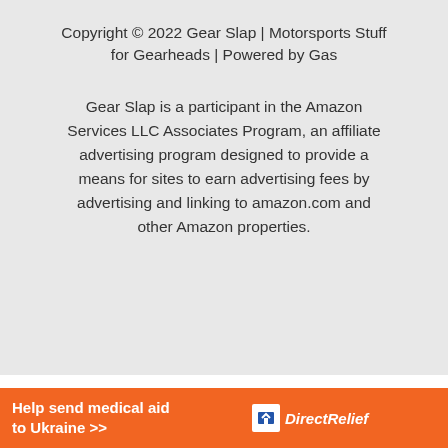Copyright © 2022 Gear Slap | Motorsports Stuff for Gearheads | Powered by Gas
Gear Slap is a participant in the Amazon Services LLC Associates Program, an affiliate advertising program designed to provide a means for sites to earn advertising fees by advertising and linking to amazon.com and other Amazon properties.
[Figure (infographic): Orange Direct Relief advertisement banner: 'Help send medical aid to Ukraine >>' with Direct Relief logo on right]